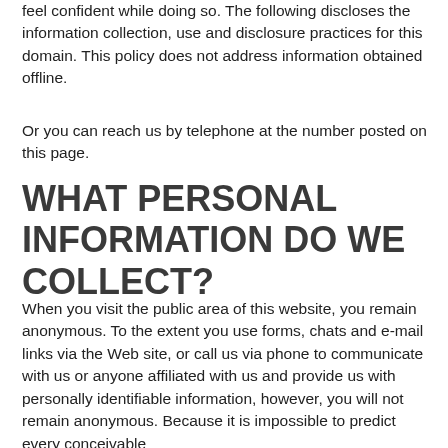feel confident while doing so. The following discloses the information collection, use and disclosure practices for this domain. This policy does not address information obtained offline.
Or you can reach us by telephone at the number posted on this page.
WHAT PERSONAL INFORMATION DO WE COLLECT?
When you visit the public area of this website, you remain anonymous. To the extent you use forms, chats and e-mail links via the Web site, or call us via phone to communicate with us or anyone affiliated with us and provide us with personally identifiable information, however, you will not remain anonymous. Because it is impossible to predict every conceivable